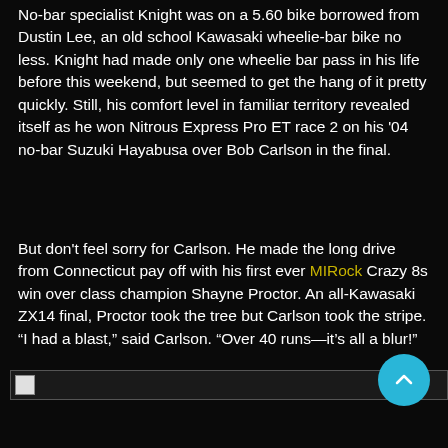No-bar specialist Knight was on a 5.60 bike borrowed from Dustin Lee, an old school Kawasaki wheelie-bar bike no less. Knight had made only one wheelie bar pass in his life before this weekend, but seemed to get the hang of it pretty quickly. Still, his comfort level in familiar territory revealed itself as he won Nitrous Express Pro ET race 2 on his '04 no-bar Suzuki Hayabusa over Bob Carlson in the final.
But don't feel sorry for Carlson. He made the long drive from Connecticut pay off with his first ever MIRock Crazy 8s win over class champion Shayne Proctor. An all-Kawasaki ZX14 final, Proctor took the tree but Carlson took the stripe. "I had a blast," said Carlson. "Over 40 runs—it's all a blur!"
[Figure (photo): Broken/unloaded image placeholder at bottom of page]